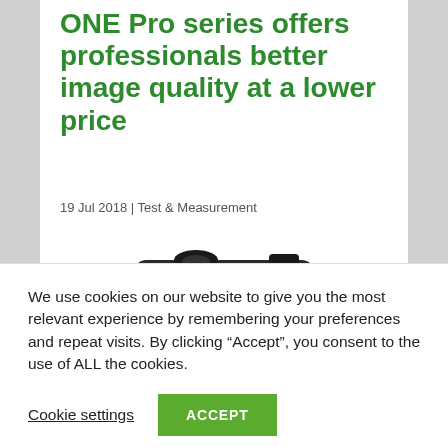New addition to FLIR ONE Pro series offers professionals better image quality at a lower price
19 Jul 2018 | Test & Measurement
[Figure (photo): Partial view of a FLIR ONE Pro thermal imaging device, shown from above at an angle, dark colored]
We use cookies on our website to give you the most relevant experience by remembering your preferences and repeat visits. By clicking “Accept”, you consent to the use of ALL the cookies.
Cookie settings   ACCEPT